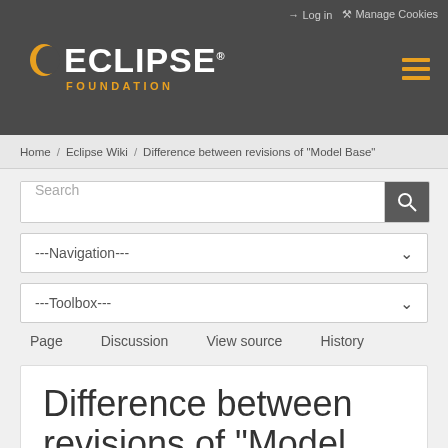Log in  Manage Cookies
[Figure (logo): Eclipse Foundation logo with crescent moon icon, white ECLIPSE text, orange FOUNDATION text below]
Home / Eclipse Wiki / Difference between revisions of "Model Base"
Search
---Navigation---
---Toolbox---
Page   Discussion   View source   History
Difference between revisions of "Model